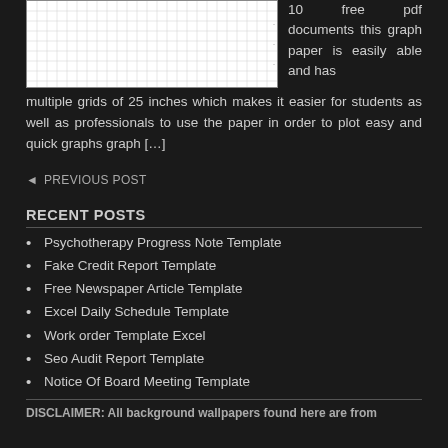[Figure (other): Graph paper image showing a white grid with fine lines and labeled axes.]
10 free pdf documents this graph paper is easily able and has multiple grids of 25 inches which makes it easier for students as well as professionals to use the paper in order to plot easy and quick graphs graph […]
◄ PREVIOUS POST
RECENT POSTS
Psychotherapy Progress Note Template
Fake Credit Report Template
Free Newspaper Article Template
Excel Daily Schedule Template
Work order Template Excel
Seo Audit Report Template
Notice Of Board Meeting Template
DISCLAIMER: All background wallpapers found here are from